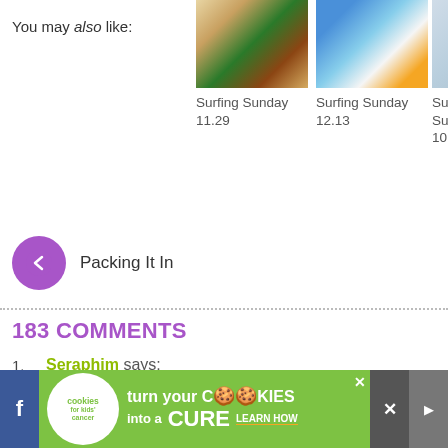You may also like:
[Figure (photo): Thumbnail photo of Christmas tree decorations]
Surfing Sunday 11.29
[Figure (photo): Thumbnail photo of two boys smiling]
Surfing Sunday 12.13
[Figure (photo): Partial thumbnail photo]
Surfing Sund... 10.11
Packing It In
183 COMMENTS
Seraphim says: JANUARY 12TH, 2010 AT 1:18 AM — I'm crying looking at the photos, so I can't imagine how for you. And I LOVE, LOVE, LOVE the book "A,B,C's wit glad you have such wonderful friends. And I will make a Friends of Maddie today. And I hope lots of us on here
[Figure (other): Advertisement banner: cookies for kids cancer - turn your cookies into a cure learn how]